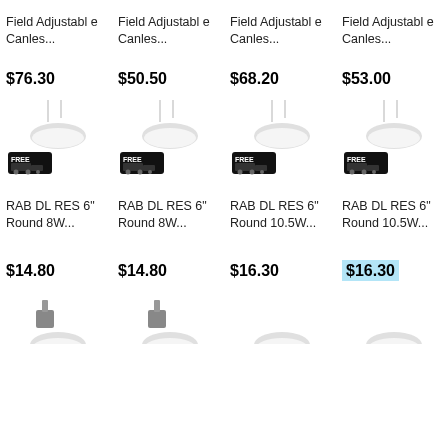Field Adjustable Canles...
Field Adjustable Canles...
Field Adjustable Canles...
Field Adjustable Canles...
$76.30
$50.50
$68.20
$53.00
[Figure (photo): RAB DL RES 6 inch Round canless light with FREE shipping badge]
[Figure (photo): RAB DL RES 6 inch Round canless light with FREE shipping badge]
[Figure (photo): RAB DL RES 6 inch Round canless light with FREE shipping badge]
[Figure (photo): RAB DL RES 6 inch Round canless light with FREE shipping badge]
RAB DL RES 6" Round 8W...
RAB DL RES 6" Round 8W...
RAB DL RES 6" Round 10.5W...
RAB DL RES 6" Round 10.5W...
$14.80
$14.80
$16.30
$16.30